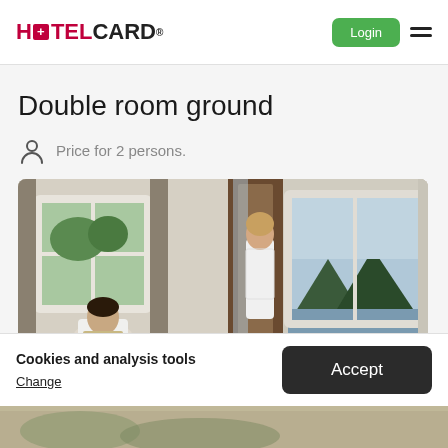HOTELCARD
Double room ground
Price for 2 persons.
[Figure (photo): Hotel double room photo showing a man sitting and working, a woman standing in a doorway, and a scenic mountain/lake view through large windows.]
Cookies and analysis tools
Change
Accept